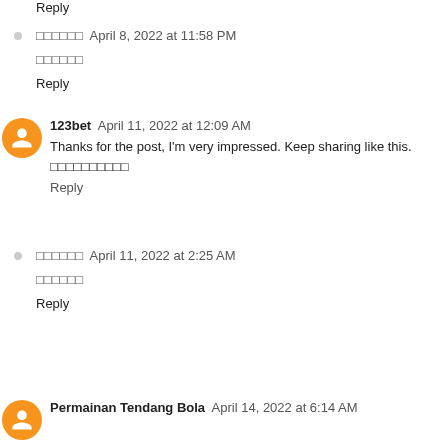Reply
?????? April 8, 2022 at 11:58 PM
??????
Reply
123bet April 11, 2022 at 12:09 AM
Thanks for the post, I'm very impressed. Keep sharing like this. ??????????
Reply
?????? April 11, 2022 at 2:25 AM
??????
Reply
Permainan Tendang Bola April 14, 2022 at 6:14 AM